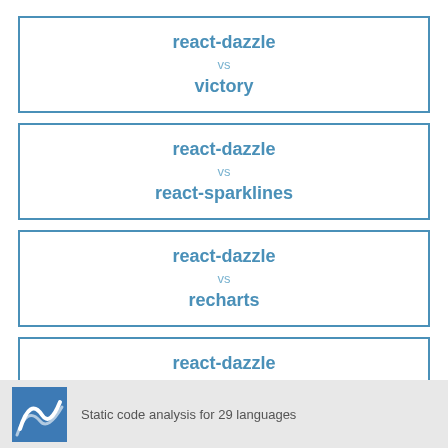react-dazzle vs victory
react-dazzle vs react-sparklines
react-dazzle vs recharts
react-dazzle vs react-d3-components
Static code analysis for 29 languages